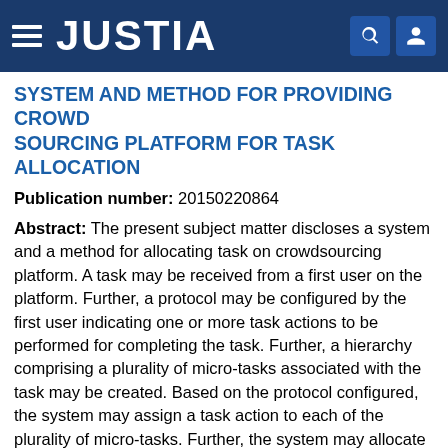JUSTIA
SYSTEM AND METHOD FOR PROVIDING CROWD SOURCING PLATFORM FOR TASK ALLOCATION
Publication number: 20150220864
Abstract: The present subject matter discloses a system and a method for allocating task on crowdsourcing platform. A task may be received from a first user on the platform. Further, a protocol may be configured by the first user indicating one or more task actions to be performed for completing the task. Further, a hierarchy comprising a plurality of micro-tasks associated with the task may be created. Based on the protocol configured, the system may assign a task action to each of the plurality of micro-tasks. Further, the system may allocate each of the plurality of micro-tasks to a second user based on the task action assigned and a set of parameters. The set of parameters may comprise second user's metadata, completion time associated